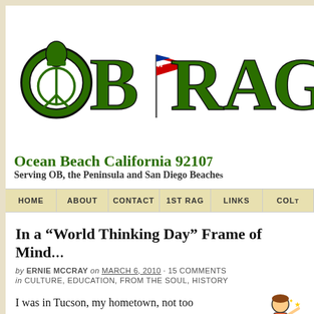[Figure (logo): OB Rag logo with large green stylized letters OB RAG, peace symbol incorporated into the O, American flag in background]
Ocean Beach California 9210
Serving OB, the Peninsula and San Diego Beache
HOME | ABOUT | CONTACT | 1ST RAG | LINKS | COL
In a “World Thinking Day” Frame of Mind
by ERNIE MCCRAY on MARCH 6, 2010 · 15 COMMENTS
in CULTURE, EDUCATION, FROM THE SOUL, HISTORY
I was in Tucson, my hometown, not too long ago to celebrate scoring a whole lot
[Figure (illustration): Small cartoon illustration of a child figure]